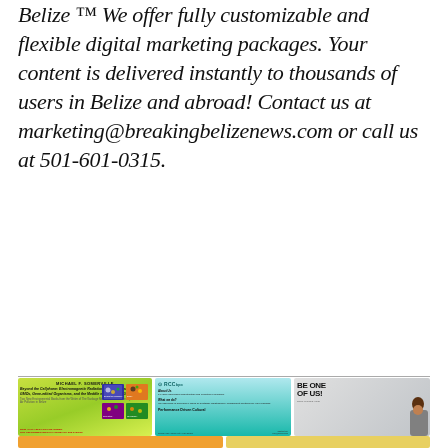Belize™ We offer fully customizable and flexible digital marketing packages. Your content is delivered instantly to thousands of users in Belize and abroad! Contact us at marketing@breakingbelizenews.com or call us at 501-601-0315.
[Figure (illustration): Book advertisement for Michael F. Somerville's two new environmental books: 'Beyond the Cellphone: Electromagnetic Radiation and the Invisible Threat' and 'GMOs, Gene-edited Organisms, and the Meddle with Nature's Genetic Code'. Yellow-green background with book cover images. Text: NOW AVAILABLE FOR PRE-ORDER OUT SEPTEMBER 2022 in PAPERBACK and E-BOOK]
[Figure (illustration): RCCbpo advertisement with teal/cyan gradient background. Logo: RCCbpo. Sections: About Us - 17 years developing opportunities and investing in business. What we do? - We specialize in providing a range of Customer Relationship Management solutions for your business. Performance Driven Cultural. Locations: Orange Walk | Belize City | San Ignacio. Contact Us: info@rccbpo.com]
[Figure (illustration): RCCbpo right panel advertisement showing smiling woman with text 'BE ONE OF US!' and www.rccbpo.com on grey/white background]
[Figure (illustration): Bottom strip showing two partial advertisements - orange/yellow background on left, golden/yellow on right]